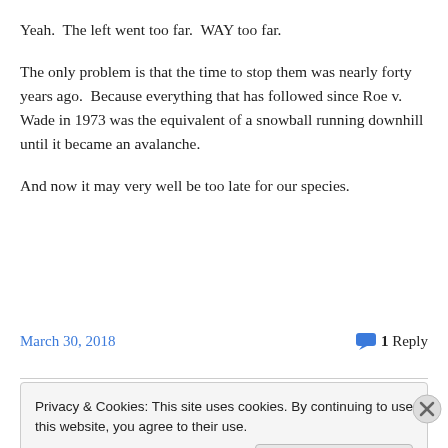Yeah.  The left went too far.  WAY too far.
The only problem is that the time to stop them was nearly forty years ago.  Because everything that has followed since Roe v. Wade in 1973 was the equivalent of a snowball running downhill until it became an avalanche.
And now it may very well be too late for our species.
March 30, 2018  ●  1 Reply
Privacy & Cookies: This site uses cookies. By continuing to use this website, you agree to their use. To find out more, including how to control cookies, see here: Cookie Policy